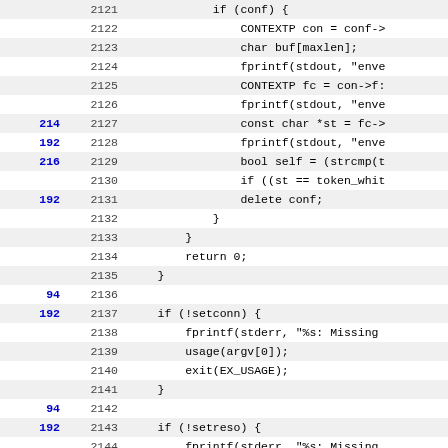[Figure (screenshot): Source code coverage view showing C++ code lines 2121-2153 with hit counts in blue on the left margin and alternating grey/white row backgrounds. Line numbers are shown in grey, code in monospace. Hit counts visible: 214, 192, 216, 192, 94, 192, 94, 192, 94, 192, 94.]